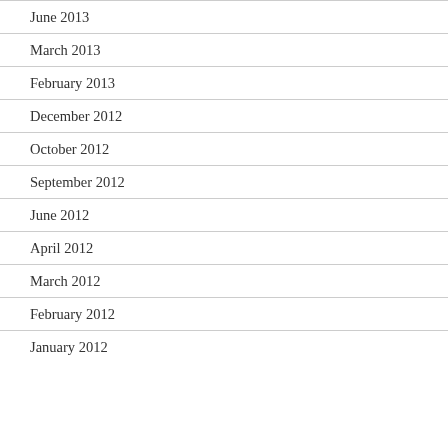June 2013
March 2013
February 2013
December 2012
October 2012
September 2012
June 2012
April 2012
March 2012
February 2012
January 2012